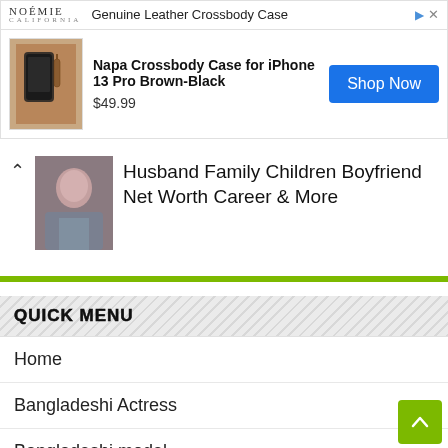[Figure (screenshot): Advertisement banner for Noémie brand showing a Napa Crossbody Case for iPhone 13 Pro Brown-Black, priced at $49.99, with a Shop Now button]
Husband Family Children Boyfriend Net Worth Career & More
QUICK MENU
Home
Bangladeshi Actress
Bangladeshi model
Bangladeshi Politician
Islamic Scholar
Singer